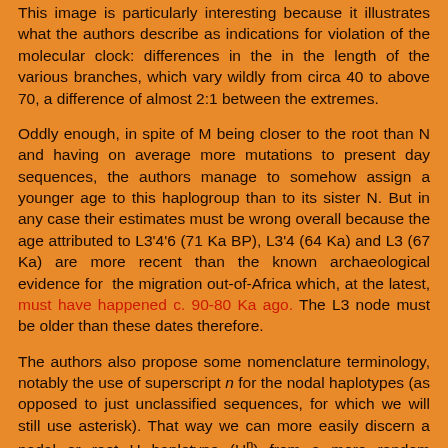This image is particularly interesting because it illustrates what the authors describe as indications for violation of the molecular clock: differences in the in the length of the various branches, which vary wildly from circa 40 to above 70, a difference of almost 2:1 between the extremes.
Oddly enough, in spite of M being closer to the root than N and having on average more mutations to present day sequences, the authors manage to somehow assign a younger age to this haplogroup than to its sister N. But in any case their estimates must be wrong overall because the age attributed to L3'4'6 (71 Ka BP), L3'4 (64 Ka) and L3 (67 Ka) are more recent than the known archaeological evidence for the migration out-of-Africa which, at the latest, must have happened c. 90-80 Ka ago. The L3 node must be older than these dates therefore.
The authors also propose some nomenclature terminology, notably the use of superscript n for the nodal haplotypes (as opposed to just unclassified sequences, for which we will still use asterisk). That way we can more easily discern a nodal or root H haplotype (Hn) from a mere random unclassified H